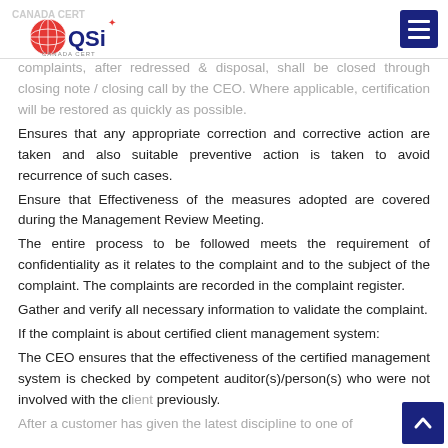QSi Canada Cert logo and navigation
complaints, after redressed & disposal, shall be closed through closing note / closing call by the CEO. Where applicable, certification will be restored as quickly as possible.
Ensures that any appropriate correction and corrective action are taken and also suitable preventive action is taken to avoid recurrence of such cases.
Ensure that Effectiveness of the measures adopted are covered during the Management Review Meeting.
The entire process to be followed meets the requirement of confidentiality as it relates to the complaint and to the subject of the complaint. The complaints are recorded in the complaint register.
Gather and verify all necessary information to validate the complaint.
If the complaint is about certified client management system:
The CEO ensures that the effectiveness of the certified management system is checked by competent auditor(s)/person(s) who were not involved with the client previously.
After a customer has given the latest discipline to one of